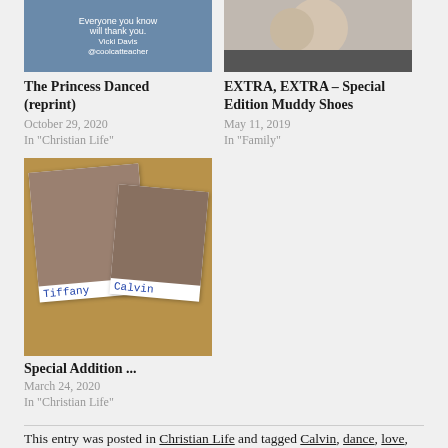[Figure (photo): Blog post thumbnail showing inspirational quote image with text 'Everyone you know will thank you. Vicki Davis @coolcatteacher']
The Princess Danced (reprint)
October 29, 2020
In "Christian Life"
[Figure (photo): Blog post thumbnail showing a smiling couple outdoors]
EXTRA, EXTRA – Special Edition Muddy Shoes
May 11, 2019
In "Family"
[Figure (photo): Blog post thumbnail showing polaroid photos labeled Tiffany and Calvin]
Special Addition ...
March 24, 2020
In "Christian Life"
This entry was posted in Christian Life and tagged Calvin, dance, love, Tiffany, wedding on October 13, 2019 by Todd K Estes.